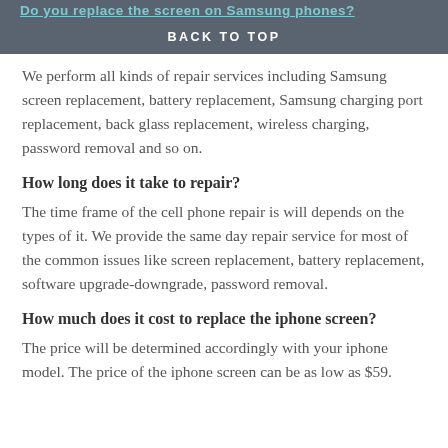BACK TO TOP
We perform all kinds of repair services including Samsung screen replacement, battery replacement, Samsung charging port replacement, back glass replacement, wireless charging, password removal and so on.
How long does it take to repair?
The time frame of the cell phone repair is will depends on the types of it. We provide the same day repair service for most of the common issues like screen replacement, battery replacement, software upgrade-downgrade, password removal.
How much does it cost to replace the iphone screen?
The price will be determined accordingly with your iphone model. The price of the iphone screen can be as low as $59. The price of the iphone screen can be as high as...